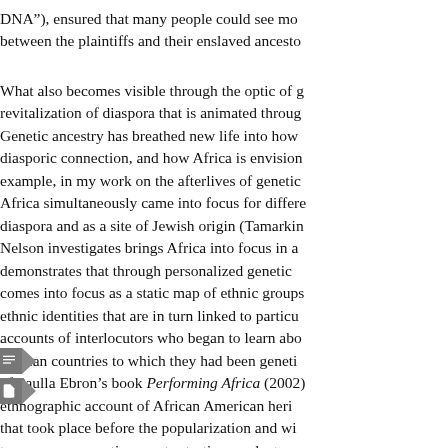DNA"), ensured that many people could see mo between the plaintiffs and their enslaved ancesto
What also becomes visible through the optic of g revitalization of diaspora that is animated throug Genetic ancestry has breathed new life into how diasporic connection, and how Africa is envision example, in my work on the afterlives of genetic Africa simultaneously came into focus for differe diaspora and as a site of Jewish origin (Tamarkin Nelson investigates brings Africa into focus in a demonstrates that through personalized genetic comes into focus as a static map of ethnic groups ethnic identities that are in turn linked to particu accounts of interlocutors who began to learn abo African countries to which they had been geneti of Paulla Ebron’s book Performing Africa (2002) ethnographic account of African American heri that took place before the popularization and wi to-consumer genetic ancestry testing products.